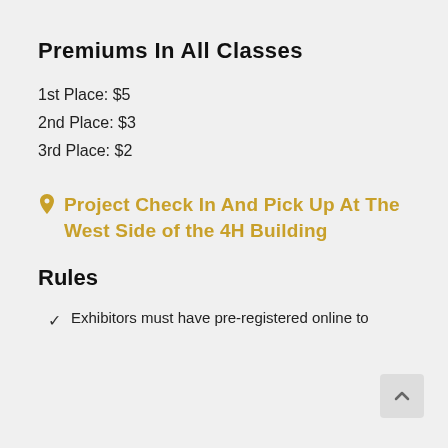Premiums In All Classes
1st Place: $5
2nd Place: $3
3rd Place: $2
Project Check In And Pick Up At The West Side of the 4H Building
Rules
Exhibitors must have pre-registered online to